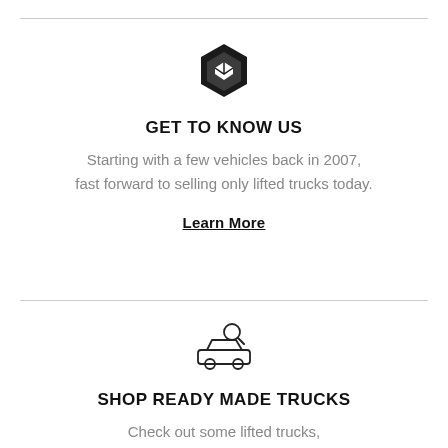[Figure (logo): Black hexagonal logo icon with abstract layered shape]
GET TO KNOW US
Starting with a few vehicles back in 2007, fast forward to selling only lifted trucks today.
Learn More
[Figure (illustration): Line icon of a car with a magnifying glass above it]
SHOP READY MADE TRUCKS
Check out some lifted trucks, built here at Ultimate Rides.
Learn More